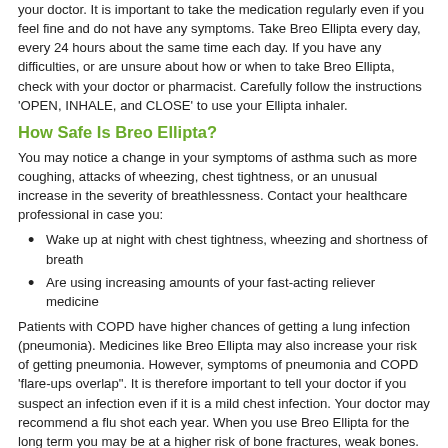your doctor. It is important to take the medication regularly even if you feel fine and do not have any symptoms. Take Breo Ellipta every day, every 24 hours about the same time each day. If you have any difficulties, or are unsure about how or when to take Breo Ellipta, check with your doctor or pharmacist. Carefully follow the instructions 'OPEN, INHALE, and CLOSE' to use your Ellipta inhaler.
How Safe Is Breo Ellipta?
You may notice a change in your symptoms of asthma such as more coughing, attacks of wheezing, chest tightness, or an unusual increase in the severity of breathlessness. Contact your healthcare professional in case you:
Wake up at night with chest tightness, wheezing and shortness of breath
Are using increasing amounts of your fast-acting reliever medicine
Patients with COPD have higher chances of getting a lung infection (pneumonia). Medicines like Breo Ellipta may also increase your risk of getting pneumonia. However, symptoms of pneumonia and COPD 'flare-ups overlap". It is therefore important to tell your doctor if you suspect an infection even if it is a mild chest infection. Your doctor may recommend a flu shot each year. When you use Breo Ellipta for the long term you may be at a higher risk of bone fractures, weak bones. Hence, try to take extra care to avoid any injury, especially falls. Also, do not